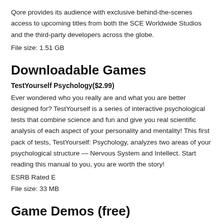Qore provides its audience with exclusive behind-the-scenes access to upcoming titles from both the SCE Worldwide Studios and the third-party developers across the globe.
File size: 1.51 GB
Downloadable Games
TestYourself Psychology($2.99)
Ever wondered who you really are and what you are better designed for? TestYourself is a series of interactive psychological tests that combine science and fun and give you real scientific analysis of each aspect of your personality and mentality! This first pack of tests, TestYourself: Psychology, analyzes two areas of your psychological structure — Nervous System and Intellect. Start reading this manual to you, you are worth the story!
ESRB Rated E
File size: 33 MB
Game Demos (free)